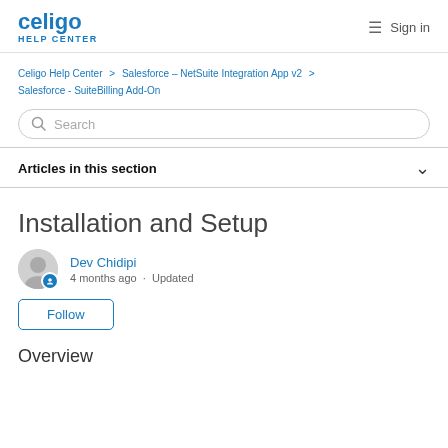celigo HELP CENTER  Sign in
Celigo Help Center > Salesforce – NetSuite Integration App v2 > Salesforce - SuiteBilling Add-On
Search
Articles in this section
Installation and Setup
Dev Chidipi
4 months ago · Updated
Follow
Overview